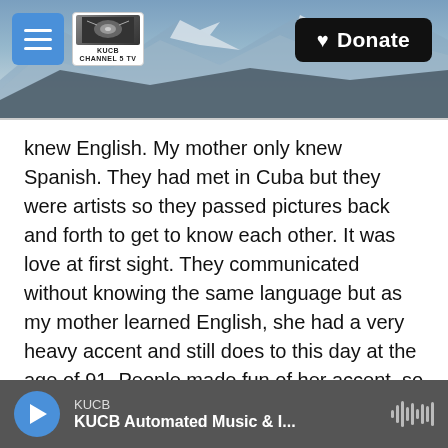[Figure (screenshot): Website header with navigation hamburger button, KUCB Channel 5 TV logo, mountain/snow background image, and a black Donate button with heart icon in the top right.]
knew English. My mother only knew Spanish. They had met in Cuba but they were artists so they passed pictures back and forth to get to know each other. It was love at first sight. They communicated without knowing the same language but as my mother learned English, she had a very heavy accent and still does to this day at the age of 91. People made fun of her accent, so I kind of put some of that into this story.
On how poetry can bridge divides:
There are children in every classroom learning a
KUCB | KUCB Automated Music & I...